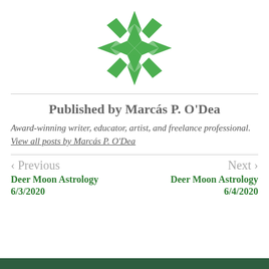[Figure (logo): Green geometric star/snowflake logo made of triangular shapes arranged in a circular pattern]
Published by Marcás P. O'Dea
Award-winning writer, educator, artist, and freelance professional. View all posts by Marcás P. O'Dea
< Previous
Deer Moon Astrology 6/3/2020
Next >
Deer Moon Astrology 6/4/2020